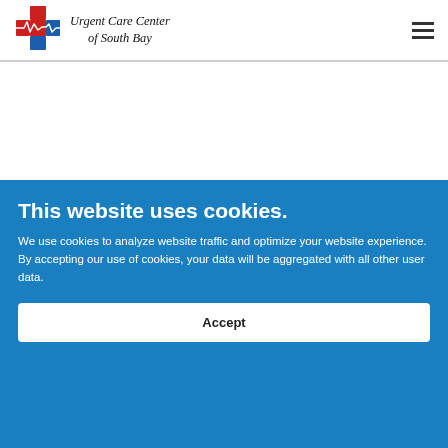[Figure (logo): Urgent Care Center of South Bay logo with red and blue cross/plus sign icon and italic serif text]
This website uses cookies.
We use cookies to analyze website traffic and optimize your website experience. By accepting our use of cookies, your data will be aggregated with all other user data.
Accept